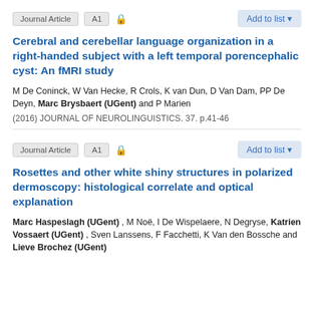Journal Article | A1 | [lock] | Add to list
Cerebral and cerebellar language organization in a right-handed subject with a left temporal porencephalic cyst: An fMRI study
M De Coninck, W Van Hecke, R Crols, K van Dun, D Van Dam, PP De Deyn, Marc Brysbaert (UGent) and P Marien
(2016) JOURNAL OF NEUROLINGUISTICS. 37. p.41-46
Journal Article | A1 | [lock] | Add to list
Rosettes and other white shiny structures in polarized dermoscopy: histological correlate and optical explanation
Marc Haspeslagh (UGent) , M Noë, I De Wispelaere, N Degryse, Katrien Vossaert (UGent) , Sven Lanssens, F Facchetti, K Van den Bossche and Lieve Brochez (UGent)